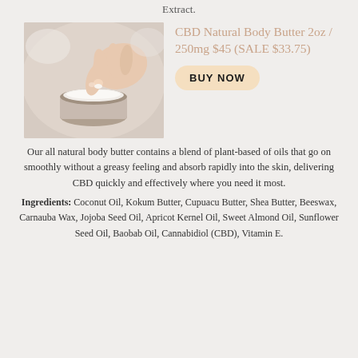Extract.
[Figure (photo): Hand reaching into a small glass jar of white body butter/cream]
CBD Natural Body Butter 2oz / 250mg $45 (SALE $33.75)
BUY NOW
Our all natural body butter contains a blend of plant-based of oils that go on smoothly without a greasy feeling and absorb rapidly into the skin, delivering CBD quickly and effectively where you need it most.
Ingredients: Coconut Oil, Kokum Butter, Cupuacu Butter, Shea Butter, Beeswax, Carnauba Wax, Jojoba Seed Oil, Apricot Kernel Oil, Sweet Almond Oil, Sunflower Seed Oil, Baobab Oil, Cannabidiol (CBD), Vitamin E.